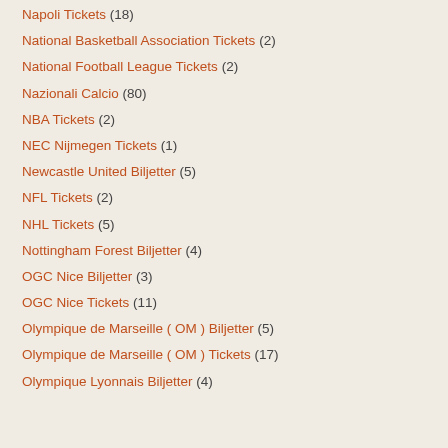Napoli Tickets (18)
National Basketball Association Tickets (2)
National Football League Tickets (2)
Nazionali Calcio (80)
NBA Tickets (2)
NEC Nijmegen Tickets (1)
Newcastle United Biljetter (5)
NFL Tickets (2)
NHL Tickets (5)
Nottingham Forest Biljetter (4)
OGC Nice Biljetter (3)
OGC Nice Tickets (11)
Olympique de Marseille ( OM ) Biljetter (5)
Olympique de Marseille ( OM ) Tickets (17)
Olympique Lyonnais Biljetter (4)